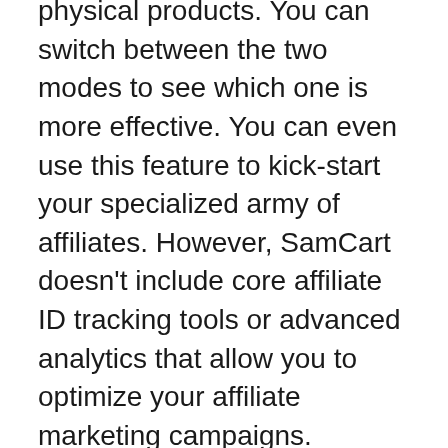physical products. You can switch between the two modes to see which one is more effective. You can even use this feature to kick-start your specialized army of affiliates. However, SamCart doesn't include core affiliate ID tracking tools or advanced analytics that allow you to optimize your affiliate marketing campaigns.
SamCart supports multiple payment providers in addition to collecting customer information. You can integrate PayPal, Post Affiliate Pro, ShipStation, Intercom, and Zapier to ensure your customers are paying the right price for your products. If you are not satisfied with the SamCart subscription, you can opt out. So, whether you need to